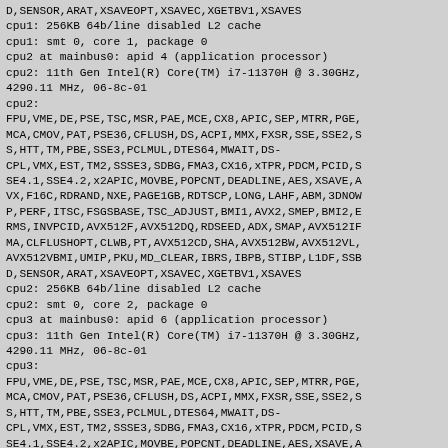D,SENSOR,ARAT,XSAVEOPT,XSAVEC,XGETBV1,XSAVES
cpu1: 256KB 64b/line disabled L2 cache
cpu1: smt 0, core 1, package 0
cpu2 at mainbus0: apid 4 (application processor)
cpu2: 11th Gen Intel(R) Core(TM) i7-11370H @ 3.30GHz, 4290.11 MHz, 06-8c-01
cpu2:
FPU,VME,DE,PSE,TSC,MSR,PAE,MCE,CX8,APIC,SEP,MTRR,PGE,MCA,CMOV,PAT,PSE36,CFLUSH,DS,ACPI,MMX,FXSR,SSE,SSE2,SS,HTT,TM,PBE,SSE3,PCLMUL,DTES64,MWAIT,DS-CPL,VMX,EST,TM2,SSSE3,SDBG,FMA3,CX16,xTPR,PDCM,PCID,SSE4.1,SSE4.2,x2APIC,MOVBE,POPCNT,DEADLINE,AES,XSAVE,AVX,F16C,RDRAND,NXE,PAGE1GB,RDTSCP,LONG,LAHF,ABM,3DNOWP,PERF,ITSC,FSGSBASE,TSC_ADJUST,BMI1,AVX2,SMEP,BMI2,ERMS,INVPCID,AVX512F,AVX512DQ,RDSEED,ADX,SMAP,AVX512IFMA,CLFLUSHOPT,CLWB,PT,AVX512CD,SHA,AVX512BW,AVX512VL,AVX512VBMI,UMIP,PKU,MD_CLEAR,IBRS,IBPB,STIBP,L1DF,SSBD,SENSOR,ARAT,XSAVEOPT,XSAVEC,XGETBV1,XSAVES
cpu2: 256KB 64b/line disabled L2 cache
cpu2: smt 0, core 2, package 0
cpu3 at mainbus0: apid 6 (application processor)
cpu3: 11th Gen Intel(R) Core(TM) i7-11370H @ 3.30GHz, 4290.11 MHz, 06-8c-01
cpu3:
FPU,VME,DE,PSE,TSC,MSR,PAE,MCE,CX8,APIC,SEP,MTRR,PGE,MCA,CMOV,PAT,PSE36,CFLUSH,DS,ACPI,MMX,FXSR,SSE,SSE2,SS,HTT,TM,PBE,SSE3,PCLMUL,DTES64,MWAIT,DS-CPL,VMX,EST,TM2,SSSE3,SDBG,FMA3,CX16,xTPR,PDCM,PCID,SSE4.1,SSE4.2,x2APIC,MOVBE,POPCNT,DEADLINE,AES,XSAVE,AVX,F16C,RDRAND,NXE,PAGE1GB,RDTSCP,LONG,LAHF,ABM,3DNOWP,PERF,ITSC,FSGSBASE,TSC_ADJUST,BMI1,AVX2,SMEP,BMI2,E